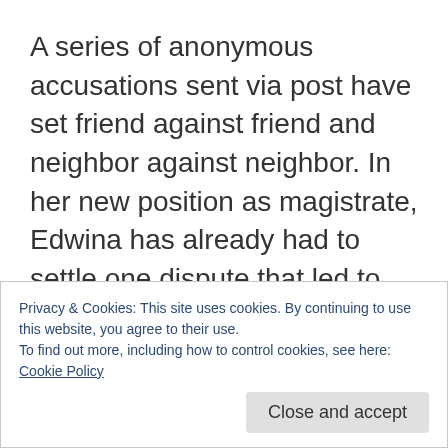A series of anonymous accusations sent via post have set friend against friend and neighbor against neighbor. In her new position as magistrate, Edwina has already had to settle one dispute that led to fisticuffs. Even Beryl has received a poison pen letter, and while she finds its message preposterous and laughable, others are taking the missives to heart. Their headstrong housekeeper Beddoes is ready to resign and one villager has attempted to take
Privacy & Cookies: This site uses cookies. By continuing to use this website, you agree to their use.
To find out more, including how to control cookies, see here:
Cookie Policy
Close and accept